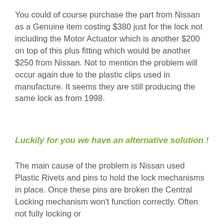You could of course purchase the part from Nissan as a Genuine item costing $380 just for the lock not including the Motor Actuator which is another $200 on top of this plus fitting which would be another $250 from Nissan. Not to mention the problem will occur again due to the plastic clips used in manufacture. It seems they are still producing the same lock as from 1998.
Luckily for you we have an alternative solution !
The main cause of the problem is Nissan used Plastic Rivets and pins to hold the lock mechanisms in place. Once these pins are broken the Central Locking mechanism won't function correctly. Often not fully locking or